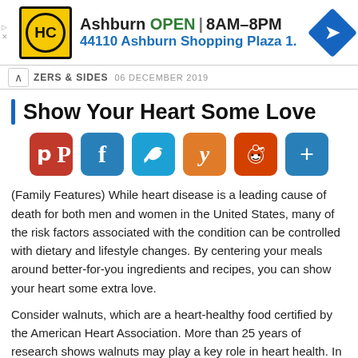[Figure (other): Advertisement banner for HC store in Ashburn, showing logo, OPEN status, hours 8AM-8PM, address 44110 Ashburn Shopping Plaza 1., and a blue navigation arrow icon]
ZERS & SIDES  06 DECEMBER 2019
Show Your Heart Some Love
[Figure (infographic): Social media sharing icons: Pinterest (red), Facebook (blue), Twitter (light blue), Yummly (orange), Reddit (orange-red), More/Plus (blue)]
(Family Features) While heart disease is a leading cause of death for both men and women in the United States, many of the risk factors associated with the condition can be controlled with dietary and lifestyle changes. By centering your meals around better-for-you ingredients and recipes, you can show your heart some extra love.
Consider walnuts, which are a heart-healthy food certified by the American Heart Association. More than 25 years of research shows walnuts may play a key role in heart health. In fact, the U.S. Food and Drug Administration approved one of the first qualified